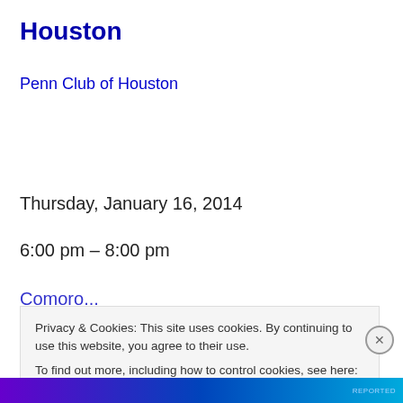Houston
Penn Club of Houston
Thursday, January 16, 2014
6:00 pm – 8:00 pm
Privacy & Cookies: This site uses cookies. By continuing to use this website, you agree to their use.
To find out more, including how to control cookies, see here: Cookie Policy
Close and accept